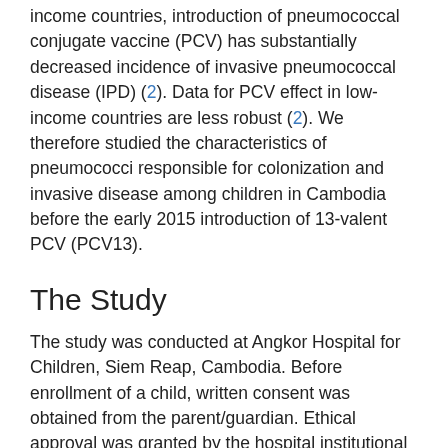income countries, introduction of pneumococcal conjugate vaccine (PCV) has substantially decreased incidence of invasive pneumococcal disease (IPD) (2). Data for PCV effect in low-income countries are less robust (2). We therefore studied the characteristics of pneumococci responsible for colonization and invasive disease among children in Cambodia before the early 2015 introduction of 13-valent PCV (PCV13).
The Study
The study was conducted at Angkor Hospital for Children, Siem Reap, Cambodia. Before enrollment of a child, written consent was obtained from the parent/guardian. Ethical approval was granted by the hospital institutional review board and the Oxford Tropical Research Ethics Committee. For the colonization study, which was conducted in January